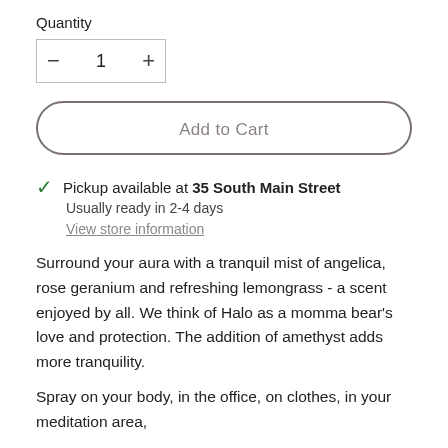Quantity
[Figure (other): Quantity selector box with minus button, number 1, and plus button]
[Figure (other): Add to Cart button — rounded pill-shaped outline button]
Pickup available at 35 South Main Street
Usually ready in 2-4 days
View store information
Surround your aura with a tranquil mist of angelica, rose geranium and refreshing lemongrass - a scent enjoyed by all. We think of Halo as a momma bear's love and protection. The addition of amethyst adds more tranquility.
Spray on your body, in the office, on clothes, in your meditation area,